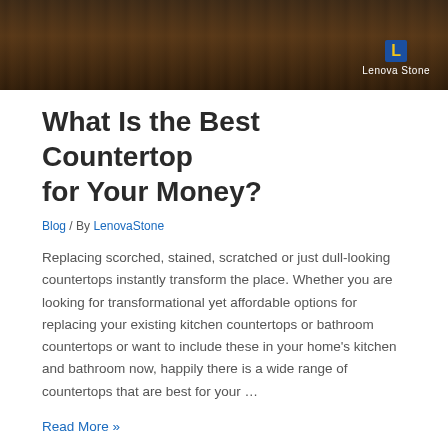[Figure (photo): Hero image of dark wood flooring/countertop surface with Lenova Stone logo in bottom right corner]
What Is the Best Countertop for Your Money?
Blog / By LenovaStone
Replacing scorched, stained, scratched or just dull-looking countertops instantly transform the place. Whether you are looking for transformational yet affordable options for replacing your existing kitchen countertops or bathroom countertops or want to include these in your home's kitchen and bathroom now, happily there is a wide range of countertops that are best for your …
Read More »